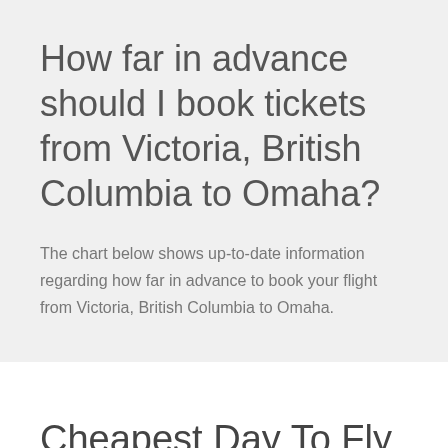How far in advance should I book tickets from Victoria, British Columbia to Omaha?
The chart below shows up-to-date information regarding how far in advance to book your flight from Victoria, British Columbia to Omaha.
Cheapest Day To Fly from Victoria, British Columbia to